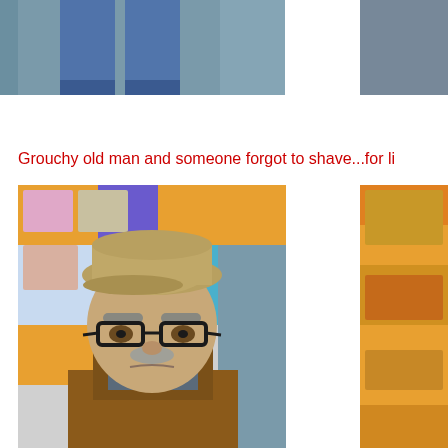[Figure (photo): Bottom portion of a person in jeans standing in front of a gray/teal wall]
[Figure (photo): Partial photo on the right side, cropped]
Grouchy old man and someone forgot to shave...for li
[Figure (photo): Man dressed as a grouchy old man wearing a flat cap, glasses with gray eyebrows and mustache, brown sweater, in front of colorful bulletin board]
[Figure (photo): Partial right-side photo showing colorful orange bulletin board with children photos]